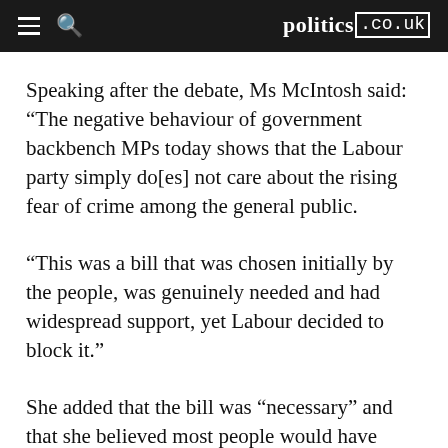politics.co.uk
Speaking after the debate, Ms McIntosh said: “The negative behaviour of government backbench MPs today shows that the Labour party simply do[es] not care about the rising fear of crime among the general public.
“This was a bill that was chosen initially by the people, was genuinely needed and had widespread support, yet Labour decided to block it.”
She added that the bill was “necessary” and that she believed most people would have “given it their support”.